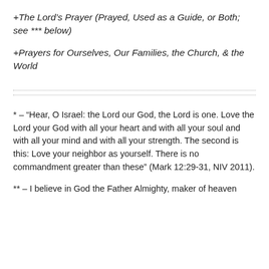+The Lord's Prayer (Prayed, Used as a Guide, or Both; see *** below)
+Prayers for Ourselves, Our Families, the Church, & the World
* – “Hear, O Israel: the Lord our God, the Lord is one. Love the Lord your God with all your heart and with all your soul and with all your mind and with all your strength. The second is this: Love your neighbor as yourself. There is no commandment greater than these” (Mark 12:29-31, NIV 2011).
** – I believe in God the Father Almighty, maker of heaven